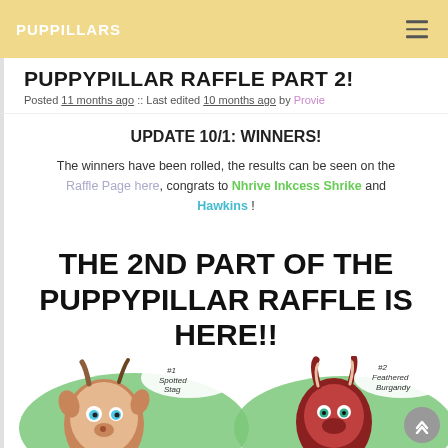PUPPILLARS
PUPPYPILLAR RAFFLE PART 2!
Posted 11 months ago :: Last edited 10 months ago by Provie
UPDATE 10/1: WINNERS!
The winners have been rolled, the results can be seen on the Raffle Page here, congrats to Nhrive Inkcess Shrike and Hawkins !
THE 2ND PART OF THE PUPPYPILLAR RAFFLE IS HERE!!
[Figure (illustration): Illustrated cartoon animal characters with speech bubbles: #1 Spotted Stag and #2 Feathered Burgandy]